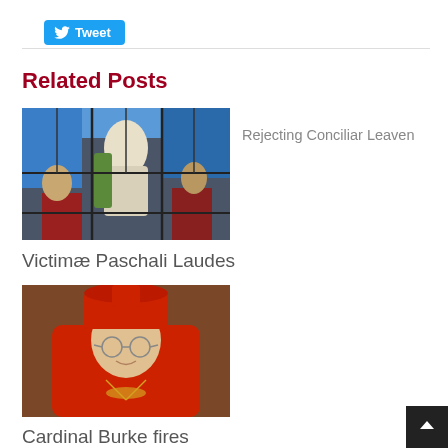[Figure (logo): Twitter Tweet button, blue rounded rectangle with bird icon and 'Tweet' text]
Related Posts
[Figure (photo): Stained glass window depicting Jesus figure with people around him]
Rejecting Conciliar Leaven
Victimæ Paschali Laudes
[Figure (photo): Cardinal in red vestments and red biretta hat, wearing glasses]
Cardinal Burke fires warning shots on behalf of tradition